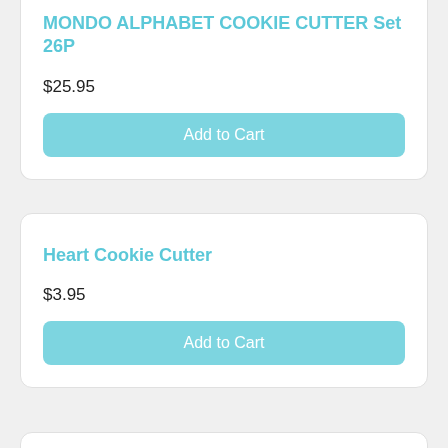MONDO ALPHABET COOKIE CUTTER Set 26P
$25.95
Add to Cart
Heart Cookie Cutter
$3.95
Add to Cart
Bone Cookie Cutter